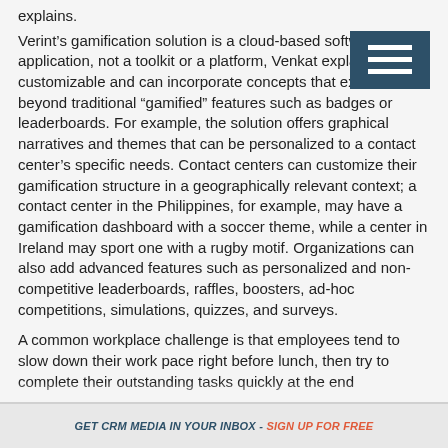explains.
Verint’s gamification solution is a cloud-based software application, not a toolkit or a platform, Venkat explains. It’s customizable and can incorporate concepts that extend beyond traditional “gamified” features such as badges or leaderboards. For example, the solution offers graphical narratives and themes that can be personalized to a contact center’s specific needs. Contact centers can customize their gamification structure in a geographically relevant context; a contact center in the Philippines, for example, may have a gamification dashboard with a soccer theme, while a center in Ireland may sport one with a rugby motif. Organizations can also add advanced features such as personalized and non-competitive leaderboards, raffles, boosters, ad-hoc competitions, simulations, quizzes, and surveys.
A common workplace challenge is that employees tend to slow down their work pace right before lunch, then try to complete their outstanding tasks quickly at the end
GET CRM MEDIA IN YOUR INBOX - SIGN UP FOR FREE